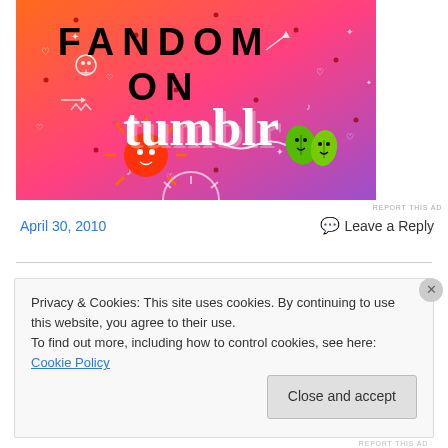[Figure (illustration): Fandom on Tumblr promotional banner with orange-to-purple gradient background, white doodles of hearts, arrows, skulls, stars, and sticker-style characters including a red sun creature and green leaf characters. Text reads FANDOM ON tumblr in bold letters.]
REPORT THIS AD
April 30, 2010
💬 Leave a Reply
Privacy & Cookies: This site uses cookies. By continuing to use this website, you agree to their use.
To find out more, including how to control cookies, see here: Cookie Policy
Close and accept
REPORT THIS AD